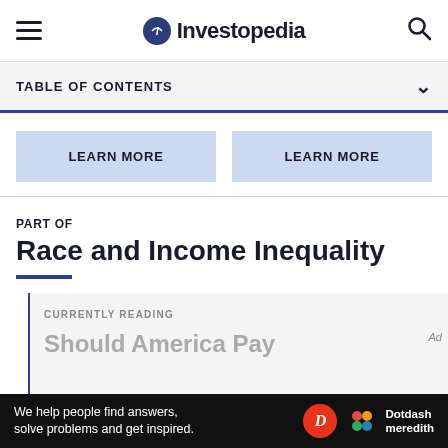Investopedia
TABLE OF CONTENTS
LEARN MORE
LEARN MORE
PART OF
Race and Income Inequality
CURRENTLY READING
Should America Pay
We help people find answers, solve problems and get inspired.